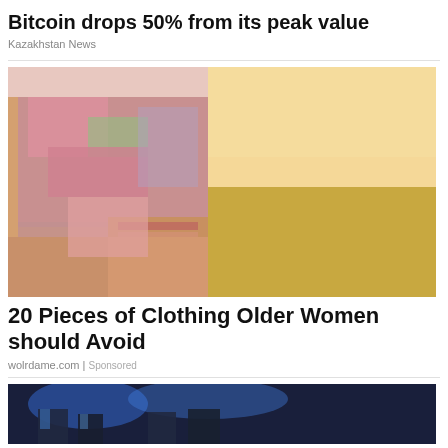Bitcoin drops 50% from its peak value
Kazakhstan News
[Figure (photo): Close-up photo of a person wearing colorful powder-stained denim cutoff shorts with frayed edges, standing in a field at sunset]
20 Pieces of Clothing Older Women should Avoid
wolrdame.com | Sponsored
[Figure (photo): Partially visible bottom image with blue tones, appears to be people in a dark setting]